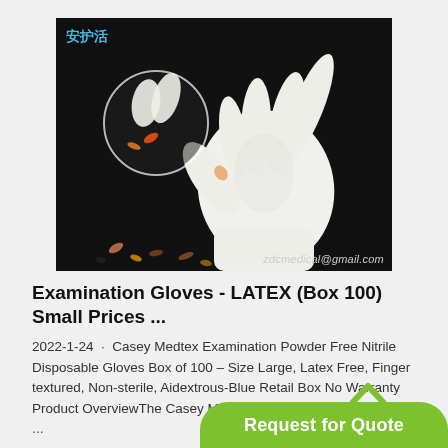[Figure (photo): White latex examination glove against dark background, with Chinese logo watermark and email zdcmedical@gmail.com]
Examination Gloves - LATEX (Box 100) Small Prices ...
2022-1-24 · Casey Medtex Examination Powder Free Nitrile Disposable Gloves Box of 100 – Size Large, Latex Free, Finger textured, Non-sterile, Aidextrous-Blue Retail Box No Warranty Product OverviewThe Casey Medtex Examination Powder
...